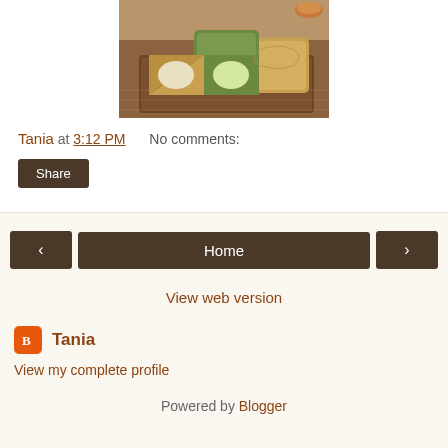[Figure (photo): Photo of mooncakes cut open on a wooden cutting board, showing green and yellow fillings, with tea cups in background]
Tania at 3:12 PM    No comments:
Share
‹    Home    ›
View web version
Tania
View my complete profile
Powered by Blogger